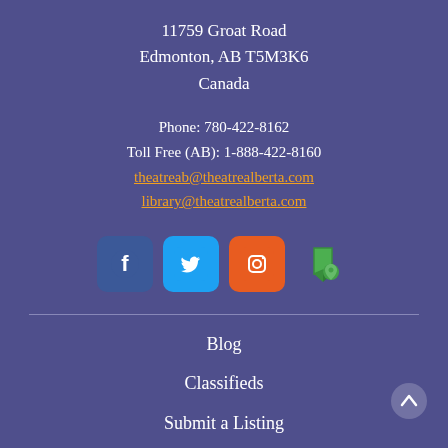11759 Groat Road
Edmonton, AB T5M3K6
Canada
Phone: 780-422-8162
Toll Free (AB): 1-888-422-8160
theatreab@theatrealberta.com
library@theatrealberta.com
[Figure (infographic): Social media icons: Facebook (dark blue rounded square), Twitter (light blue rounded square), Instagram (orange rounded square), and a green map/location icon]
Blog
Classifieds
Submit a Listing
Playbill
Theatre Buzz